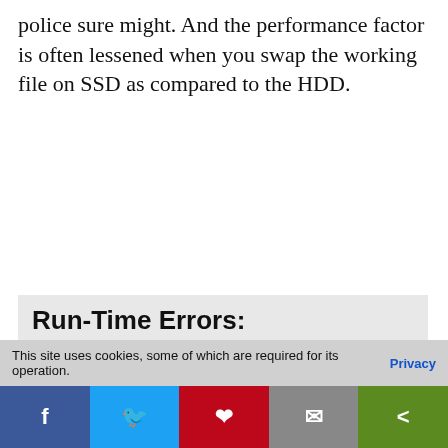police sure might. And the performance factor is often lessened when you swap the working file on SSD as compared to the HDD.
Run-Time Errors:
[Figure (screenshot): A screenshot of an Eclipse/Java IDE showing a code editor with a Java class 'Example' containing a line with a run-time error (System.out.println with underlined text 'Please enter a number:;'), and an 'Errors in Workspace' dialog box overlaid on top, showing 'Errors exist in required project(s)', 'HelloPrinter', 'Proceed with launch?' with a Cancel button and an OK button, and an 'Always launch without asking' checkbox.]
This site uses cookies, some of which are required for its operation. Privacy